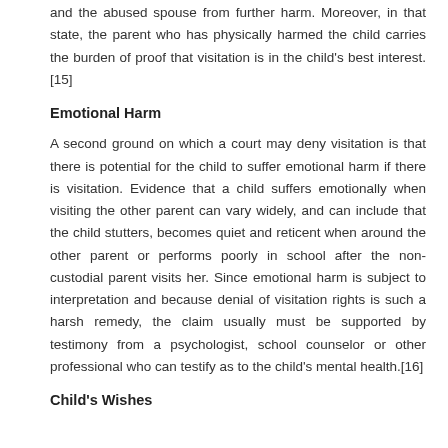and the abused spouse from further harm. Moreover, in that state, the parent who has physically harmed the child carries the burden of proof that visitation is in the child's best interest. [15]
Emotional Harm
A second ground on which a court may deny visitation is that there is potential for the child to suffer emotional harm if there is visitation. Evidence that a child suffers emotionally when visiting the other parent can vary widely, and can include that the child stutters, becomes quiet and reticent when around the other parent or performs poorly in school after the non-custodial parent visits her. Since emotional harm is subject to interpretation and because denial of visitation rights is such a harsh remedy, the claim usually must be supported by testimony from a psychologist, school counselor or other professional who can testify as to the child's mental health.[16]
Child's Wishes